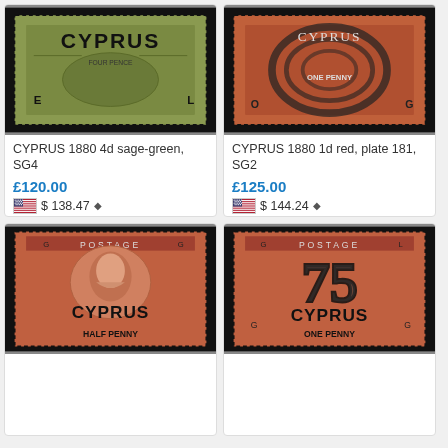[Figure (photo): CYPRUS 1880 4d sage-green stamp, SG4, olive-green color with ornate design and CYPRUS text at top]
CYPRUS 1880 4d sage-green, SG4
£120.00
$ 138.47
[Figure (photo): CYPRUS 1880 1d red stamp, plate 181, SG2, red color with portrait and ornate cancellation mark]
CYPRUS 1880 1d red, plate 181, SG2
£125.00
$ 144.24
[Figure (photo): CYPRUS HALF PENNY red stamp, GG corners, postage stamp with Queen Victoria portrait and CYPRUS overprint]
[Figure (photo): CYPRUS ONE PENNY red stamp, GL corners, postage stamp with large numerical cancellation and CYPRUS overprint]